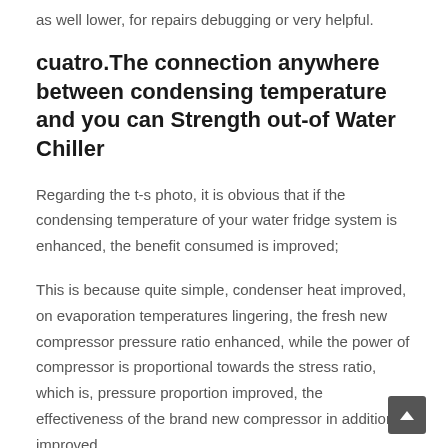as well lower, for repairs debugging or very helpful.
cuatro.The connection anywhere between condensing temperature and you can Strength out-of Water Chiller
Regarding the t-s photo, it is obvious that if the condensing temperature of your water fridge system is enhanced, the benefit consumed is improved;
This is because quite simple, condenser heat improved, on evaporation temperatures lingering, the fresh new compressor pressure ratio enhanced, while the power of compressor is proportional towards the stress ratio, which is, pressure proportion improved, the effectiveness of the brand new compressor in addition to improved.
The new compressor compresses 5 kg regarding refrigerant so you're able to 15 kg out of power, certainly